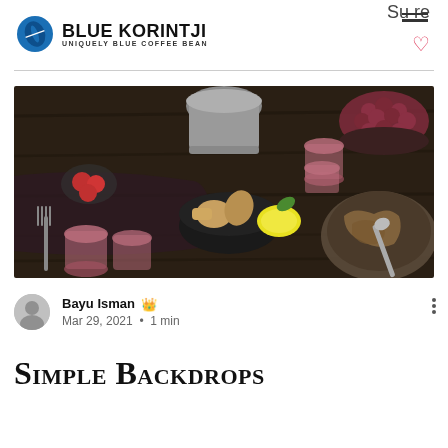Su re
[Figure (logo): Blue Korintji coffee brand logo with blue coffee bean icon and text BLUE KORINTJI / UNIQUELY BLUE COFFEE BEAN]
[Figure (photo): Overhead food photography on a dark wooden table: various dishes, a lemon, bread pieces in a black bowl, pink drinks in glasses, grapes in a bowl, a metal pitcher, and other food items with utensils]
Bayu Isman 👑
Mar 29, 2021 · 1 min
Simple backdrops